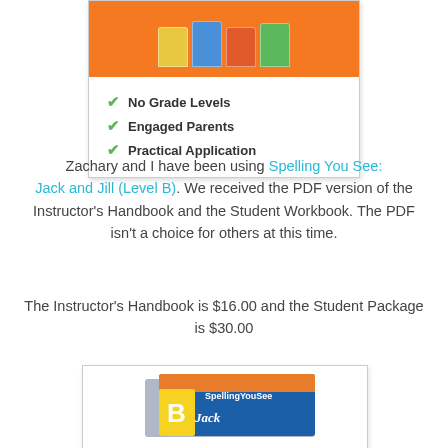[Figure (illustration): A white card with orange top section containing decorative book card images, and three green checkmark bullet points listing: No Grade Levels, Engaged Parents, Practical Application]
Zachary and I have been using Spelling You See: Jack and Jill (Level B). We received the PDF version of the Instructor's Handbook and the Student Workbook. The PDF isn't a choice for others at this time.
The Instructor's Handbook is $16.00 and the Student Package is $30.00
[Figure (illustration): Bottom portion of a Spelling You See: Jack and Jill Level B book cover showing a yellow block with letter B and the SpellingYouSee logo on a blue/orange background]